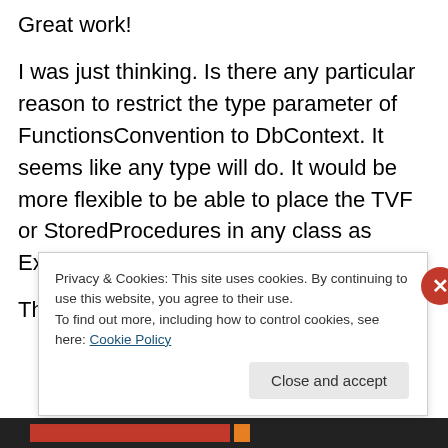Great work!
I was just thinking. Is there any particular reason to restrict the type parameter of FunctionsConvention to DbContext. It seems like any type will do. It would be more flexible to be able to place the TVF or StoredProcedures in any class as Extension methods of the DbContext.
Thanks
Privacy & Cookies: This site uses cookies. By continuing to use this website, you agree to their use.
To find out more, including how to control cookies, see here: Cookie Policy